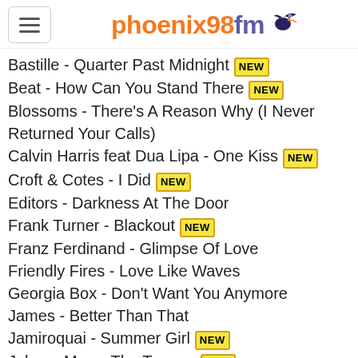phoenix98fm
Bastille - Quarter Past Midnight [NEW]
Beat - How Can You Stand There [NEW]
Blossoms - There's A Reason Why (I Never Returned Your Calls)
Calvin Harris feat Dua Lipa - One Kiss [NEW]
Croft & Cotes - I Did [NEW]
Editors - Darkness At The Door
Frank Turner - Blackout [NEW]
Franz Ferdinand - Glimpse Of Love
Friendly Fires - Love Like Waves
Georgia Box - Don't Want You Anymore
James - Better Than That
Jamiroquai - Summer Girl [NEW]
Johnny Marr - The Tracers [NEW]
Josie Tullett - Thunder and Lightning [NEW]